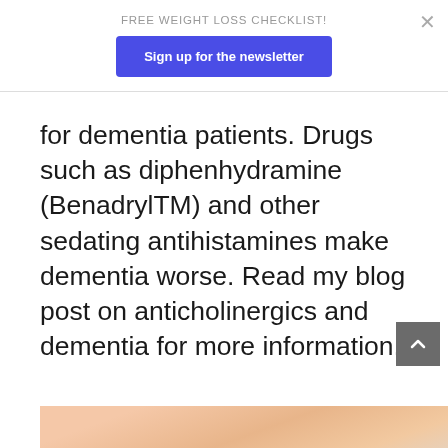FREE WEIGHT LOSS CHECKLIST!
Sign up for the newsletter
for dementia patients. Drugs such as diphenhydramine (BenadrylTM) and other sedating antihistamines make dementia worse. Read my blog post on anticholinergics and dementia for more information.
[Figure (other): Scroll-to-top button (dark gray square with upward chevron arrow)]
[Figure (photo): Partial bottom image, appears to show a person with blonde hair]